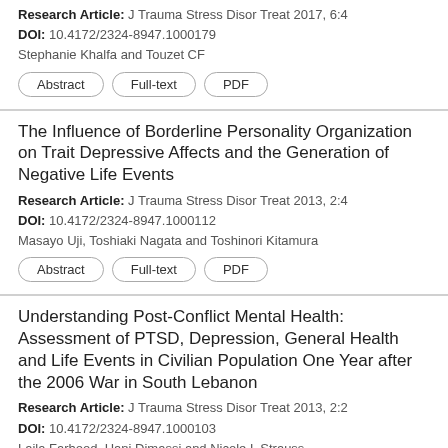Research Article: J Trauma Stress Disor Treat 2017, 6:4
DOI: 10.4172/2324-8947.1000179
Stephanie Khalfa and Touzet CF
Abstract | Full-text | PDF
The Influence of Borderline Personality Organization on Trait Depressive Affects and the Generation of Negative Life Events
Research Article: J Trauma Stress Disor Treat 2013, 2:4
DOI: 10.4172/2324-8947.1000112
Masayo Uji, Toshiaki Nagata and Toshinori Kitamura
Abstract | Full-text | PDF
Understanding Post-Conflict Mental Health: Assessment of PTSD, Depression, General Health and Life Events in Civilian Population One Year after the 2006 War in South Lebanon
Research Article: J Trauma Stress Disor Treat 2013, 2:2
DOI: 10.4172/2324-8947.1000103
Laila Farhood, Hani Dimassi and Nicole L Strauss